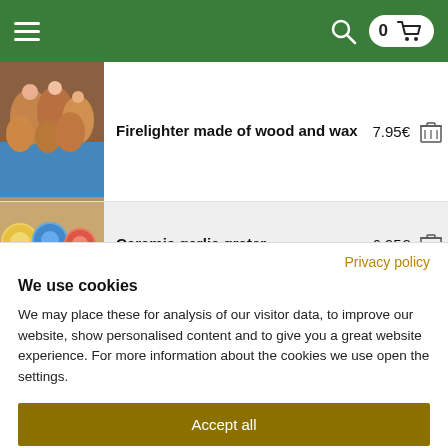Navigation header with hamburger menu, search icon, and cart (0 items)
| Image | Product | Price | Action |
| --- | --- | --- | --- |
| [image] | Firelighter made of wood and wax | 7.95€ | [delete] |
| [image] | Ceramic garlic grater | 6.95€ | [delete] |
Privacy policy
We use cookies
We may place these for analysis of our visitor data, to improve our website, show personalised content and to give you a great website experience. For more information about the cookies we use open the settings.
Accept all
Deny
Adjust settings